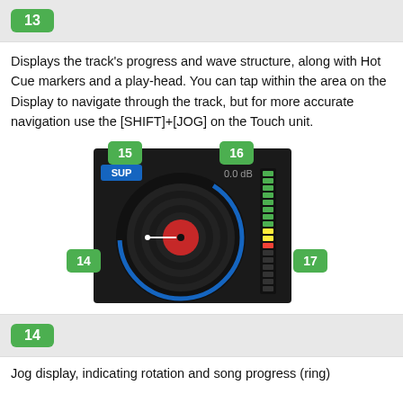13
Displays the track's progress and wave structure, along with Hot Cue markers and a play-head. You can tap within the area on the Display to navigate through the track, but for more accurate navigation use the [SHIFT]+[JOG] on the Touch unit.
[Figure (illustration): DJ turntable/jog wheel display showing a vinyl record with a needle, a blue arc progress ring, labeled areas: 14 (jog display), 15 (SLIP button in blue), 16 (0.0 dB readout), 17 (vertical level meter on right side).]
14
Jog display, indicating rotation and song progress (ring)